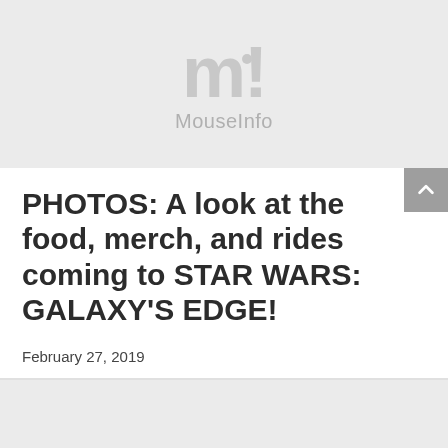[Figure (logo): MouseInfo logo — large grey 'm!' character with a grey dot, and 'MouseInfo' text below in grey]
PHOTOS: A look at the food, merch, and rides coming to STAR WARS: GALAXY'S EDGE!
February 27, 2019
Share your thoughts